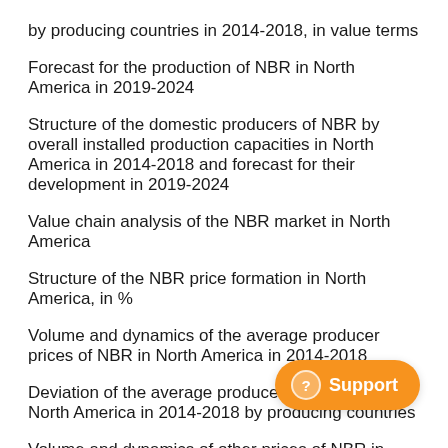by producing countries in 2014-2018, in value terms
Forecast for the production of NBR in North America in 2019-2024
Structure of the domestic producers of NBR by overall installed production capacities in North America in 2014-2018 and forecast for their development in 2019-2024
Value chain analysis of the NBR market in North America
Structure of the NBR price formation in North America, in %
Volume and dynamics of the average producer prices of NBR in North America in 2014-2018
Deviation of the average producer prices of NBR in North America in 2014-2018 by producing countries
Volume and dynamics of other prices of NBR in North America (wholesale, distributor, retail, etc.) in 2014-2018
Trade balance of NBR foreign trade in North America in 2014-2018, in volume terms
Trade balance of NBR foreign trade in North America in 2014-